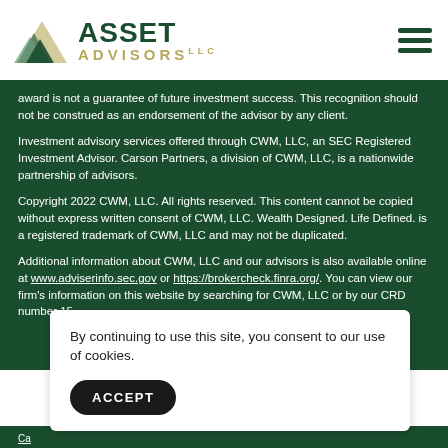[Figure (logo): Asset Advisors LLC logo with triangle mountain graphic and company name]
award is not a guarantee of future investment success. This recognition should not be construed as an endorsement of the advisor by any client.
Investment advisory services offered through CWM, LLC, an SEC Registered Investment Advisor. Carson Partners, a division of CWM, LLC, is a nationwide partnership of advisors.
Copyright 2022 CWM, LLC. All rights reserved. This content cannot be copied without express written consent of CWM, LLC. Wealth Designed. Life Defined. is a registered trademark of CWM, LLC and may not be duplicated.
Additional information about CWM, LLC and our advisors is also available online at www.adviserinfo.sec.gov or https://brokercheck.finra.org/. You can view our firm's information on this website by searching for CWM, LLC or by our CRD number 15...
By continuing to use this site, you consent to our use of cookies.
ACCEPT